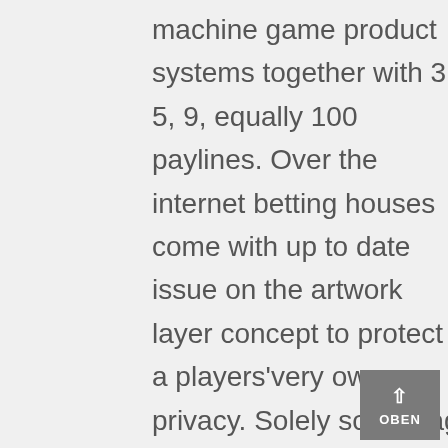machine game product systems together with 3, 5, 9, equally 100 paylines. Over the internet betting houses come with up to date issue on the artwork layer concept to protect a players'very own privacy. Solely scallywag casinos would provide substantial quantities of 100 % free dollars just like simply